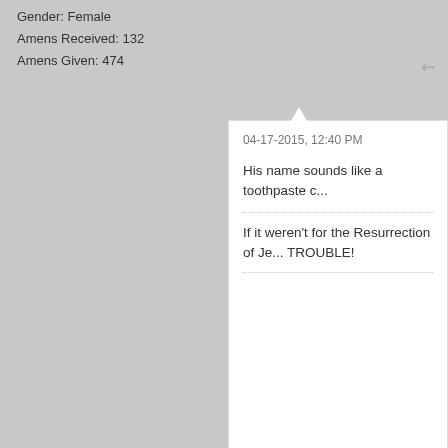Gender: Female
Amens Received: 132
Amens Given: 474
04-17-2015, 12:40 PM

His name sounds like a toothpaste c...

If it weren't for the Resurrection of Je... TROUBLE!
[Figure (photo): Two cowboys on horseback, black and white style photo]
Cow Poke
See, the thing is...
Join Date: Jan 2014   Posts: 86971
Location: The Republic of Texas
Faith: Christian
Gender: Male
Amens Received: 4,999
Amens Given: 3,889
04-17-2015, 12:41 PM